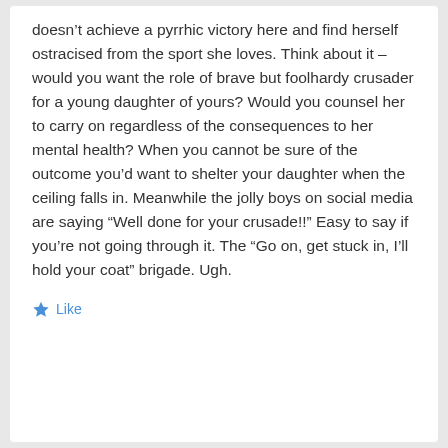doesn't achieve a pyrrhic victory here and find herself ostracised from the sport she loves. Think about it – would you want the role of brave but foolhardy crusader for a young daughter of yours? Would you counsel her to carry on regardless of the consequences to her mental health? When you cannot be sure of the outcome you'd want to shelter your daughter when the ceiling falls in. Meanwhile the jolly boys on social media are saying “Well done for your crusade!!” Easy to say if you're not going through it. The “Go on, get stuck in, I'll hold your coat” brigade. Ugh.
Like